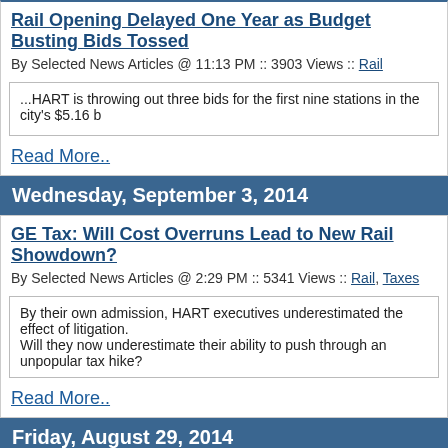Rail Opening Delayed One Year as Budget Busting Bids Tossed
By Selected News Articles @ 11:13 PM :: 3903 Views :: Rail
...HART is throwing out three bids for the first nine stations in the city's $5.16 b
Read More..
Wednesday, September 3, 2014
GE Tax: Will Cost Overruns Lead to New Rail Showdown?
By Selected News Articles @ 2:29 PM :: 5341 Views :: Rail, Taxes
By their own admission, HART executives underestimated the effect of litigation. Will they now underestimate their ability to push through an unpopular tax hike?
Read More..
Friday, August 29, 2014
RAILROADED: Rail construction Could put Small businesses o
By Malia Zimmerman @ 5:51 AM :: 4533 Views :: Rail
Cliff Garcia operates Tropical Lamps & Shades on land his family has owned in Honolulu for the past 70 years....